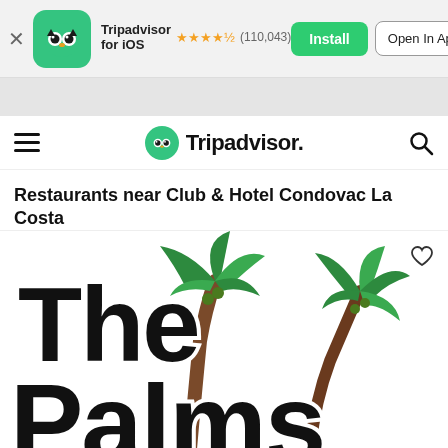[Figure (screenshot): Tripadvisor iOS app install banner with owl logo icon, star rating 4.5 stars (110,043 reviews), Install button and Open In App button]
[Figure (logo): Tripadvisor navigation bar with hamburger menu, Tripadvisor owl logo and wordmark, and search icon]
Restaurants near Club & Hotel Condovac La Costa
[Figure (logo): The Palms restaurant logo showing large bold text 'The Palms' with decorative palm trees, partially cropped at bottom of page]